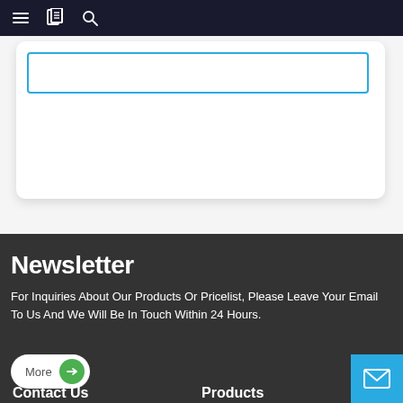Navigation bar with menu, bookmark, and search icons
[Figure (screenshot): White card with a teal-bordered search/input box at the top]
Newsletter
For Inquiries About Our Products Or Pricelist, Please Leave Your Email To Us And We Will Be In Touch Within 24 Hours.
More
Contact Us
Products